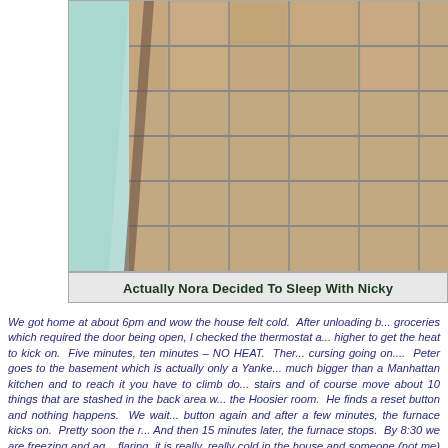[Figure (photo): Close-up photograph of stone or ceramic tiles in tan/brown tones with light blue/green element visible at top left corner]
Actually Nora Decided To Sleep With Nicky
We got home at about 6pm and wow the house felt cold. After unloading b... groceries which required the door being open, I checked the thermostat a... higher to get the heat to kick on. Five minutes, ten minutes – NO HEAT. Ther... cursing going on.... Peter goes to the basement which is actually only a Yanke... much bigger than a Manhattan kitchen and to reach it you have to climb do... stairs and of course move about 10 things that are stashed in the back area w... the Hoosier room. He finds a reset button and nothing happens. We wait... button again and after a few minutes, the furnace kicks on. Pretty soon the r... And then 15 minutes later, the furnace stops. By 8:30 we are freezing and ag... flaring, it is really, really cold in the house and someone (not me) thinks goin... the answer. NO WAY! I'm not leaving the house with no possible heat so the... and burst – you know who grew up in an apartment building! We call the em... and are told we will get a return call. NO CALL. At 10:00 we call again and ab... a call. The nice man on the phone who had been sleeping was willing to... suggested he try to walk Peter through some possible solutions. After 45... phone, the furnace kicked on. And 15 minutes later it stopped. The onl...